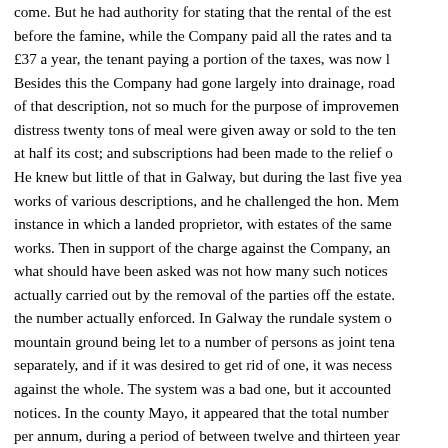come. But he had authority for stating that the rental of the est before the famine, while the Company paid all the rates and ta £37 a year, the tenant paying a portion of the taxes, was now l Besides this the Company had gone largely into drainage, roa of that description, not so much for the purpose of improveme distress twenty tons of meal were given away or sold to the te at half its cost; and subscriptions had been made to the relief o He knew but little of that in Galway, but during the last five yea works of various descriptions, and he challenged the hon. Me instance in which a landed proprietor, with estates of the same works. Then in support of the charge against the Company, an what should have been asked was not how many such notices actually carried out by the removal of the parties off the estate. the number actually enforced. In Galway the rundale system o mountain ground being let to a number of persons as joint tena separately, and if it was desired to get rid of one, it was necess against the whole. The system was a bad one, but it accounte notices. In the county Mayo, it appeared that the total number per annum, during a period of between twelve and thirteen yea that number no further proceedings were taken in five cases. l